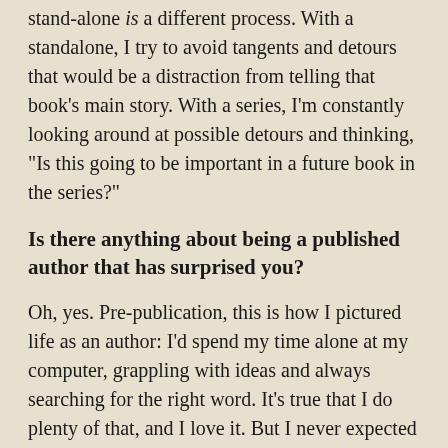stand-alone is a different process. With a standalone, I try to avoid tangents and detours that would be a distraction from telling that book's main story. With a series, I'm constantly looking around at possible detours and thinking, "Is this going to be important in a future book in the series?"
Is there anything about being a published author that has surprised you?
Oh, yes. Pre-publication, this is how I pictured life as an author: I'd spend my time alone at my computer, grappling with ideas and always searching for the right word. It's true that I do plenty of that, and I love it. But I never expected to also spend a lot of time traveling and meeting/talking with kids, educators, librarians, booksellers, parents, etc. I've now been to all 50 states, and some of my trips to about 35 of them were for book